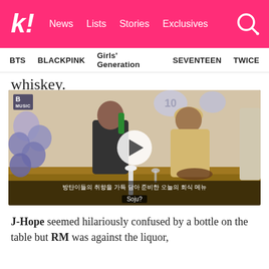k! News Lists Stories Exclusives
BTS BLACKPINK Girls' Generation SEVENTEEN TWICE
whiskey.
[Figure (screenshot): Video thumbnail showing BTS members at a dinner table. One member drinks from a bottle, another wearing a hat smiles. Balloons visible on the left. Subtitle text in Korean and 'Soju?' overlay. Play button in center.]
J-Hope seemed hilariously confused by a bottle on the table but RM was against the liquor,